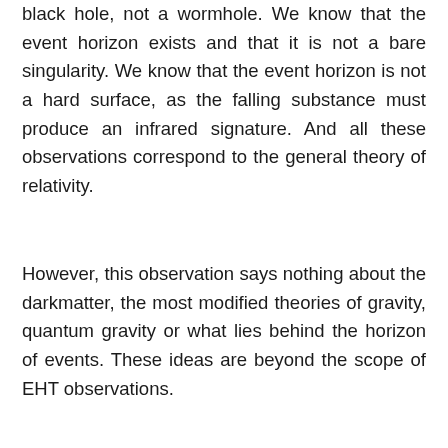black hole, not a wormhole. We know that the event horizon exists and that it is not a bare singularity. We know that the event horizon is not a hard surface, as the falling substance must produce an infrared signature. And all these observations correspond to the general theory of relativity.
However, this observation says nothing about the darkmatter, the most modified theories of gravity, quantum gravity or what lies behind the horizon of events. These ideas are beyond the scope of EHT observations.